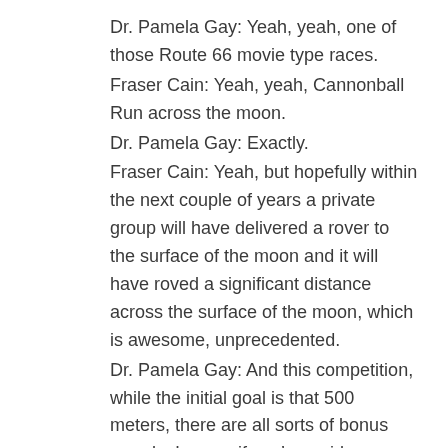Dr. Pamela Gay: Yeah, yeah, one of those Route 66 movie type races.
Fraser Cain: Yeah, yeah, Cannonball Run across the moon.
Dr. Pamela Gay: Exactly.
Fraser Cain: Yeah, but hopefully within the next couple of years a private group will have delivered a rover to the surface of the moon and it will have roved a significant distance across the surface of the moon, which is awesome, unprecedented.
Dr. Pamela Gay: And this competition, while the initial goal is that 500 meters, there are all sorts of bonus rounds, I guess if you’re a video gamer, is a good way to put it, with challenges to do a variety of other things. I mean, if you'd like to learn more about this we do have a Hangout series that I host for the Google Lunar X Prize where once a month we sit down and talk with the men, women and often students behind these different teams all over the